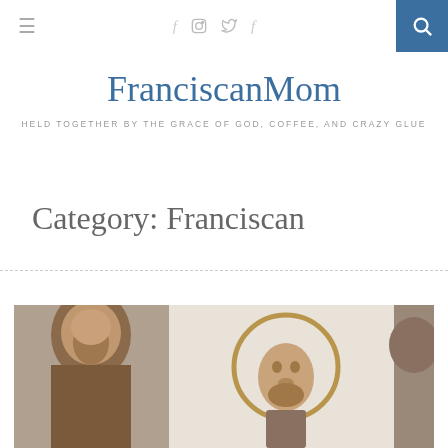≡  f  [instagram]  [twitter]  f  [search]
FranciscanMom
HELD TOGETHER BY THE GRACE OF GOD, COFFEE, AND CRAZY GLUE
Category: Franciscan
[Figure (photo): Photo showing Franciscan saint statue with golden halo ring, face looking upward, alongside partial statues on left and right sides]